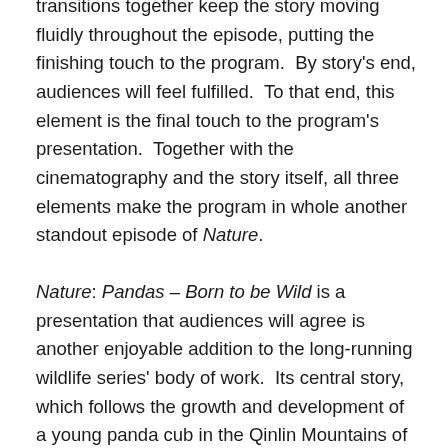transitions together keep the story moving fluidly throughout the episode, putting the finishing touch to the program.  By story's end, audiences will feel fulfilled.  To that end, this element is the final touch to the program's presentation.  Together with the cinematography and the story itself, all three elements make the program in whole another standout episode of Nature.
Nature: Pandas – Born to be Wild is a presentation that audiences will agree is another enjoyable addition to the long-running wildlife series' body of work.  Its central story, which follows the growth and development of a young panda cub in the Qinlin Mountains of China does well to compare his development versus how wild pandas live.  What's more, it avoids any unnecessary preachy environmentalist message.  The cinematography featured along with the story adds to the episode's engagement